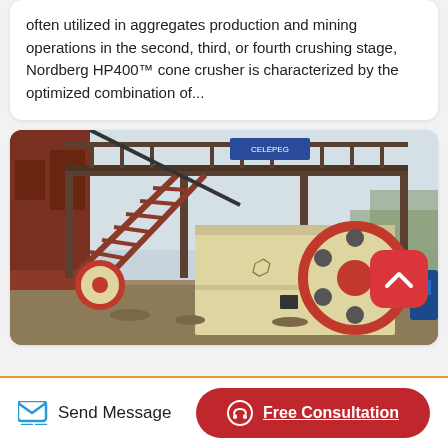often utilized in aggregates production and mining operations in the second, third, or fourth crushing stage, Nordberg HP400™ cone crusher is characterized by the optimized combination of...
[Figure (photo): Industrial jaw crusher machine with metal staircase/scaffolding structure, large flywheel visible on the right side. Blue sign on upper platform. Photographed outdoors at a mining or quarry site.]
Send Message
Free Consultation